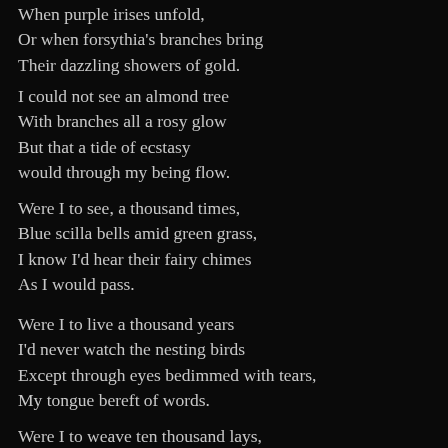When purple irises unfold,
Or when forsythia's branches bring
Their dazzling showers of gold.
I could not see an almond tree
With branches all a rosy glow
But that a tide of ecstasy
would through my being flow.
Were I to see, a thousand times,
Blue scilla bells amid green grass,
I know I'd hear their fairy chimes
As I would pass.
Were I to live a thousand years
I'd never watch the nesting birds
Except through eyes bedimmed with tears,
My tongue bereft of words.
Were I to weave ten thousand lays,